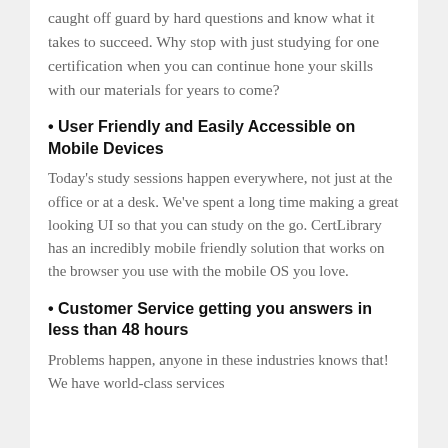caught off guard by hard questions and know what it takes to succeed. Why stop with just studying for one certification when you can continue hone your skills with our materials for years to come?
• User Friendly and Easily Accessible on Mobile Devices
Today’s study sessions happen everywhere, not just at the office or at a desk. We’ve spent a long time making a great looking UI so that you can study on the go. CertLibrary has an incredibly mobile friendly solution that works on the browser you use with the mobile OS you love.
• Customer Service getting you answers in less than 48 hours
Problems happen, anyone in these industries knows that! We have world-class services